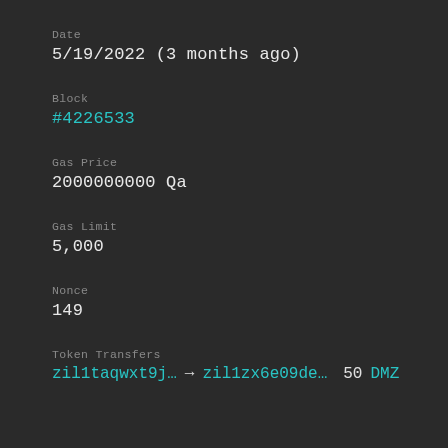Date
5/19/2022 (3 months ago)
Block
#4226533
Gas Price
2000000000 Qa
Gas Limit
5,000
Nonce
149
Token Transfers
zil1taqwxt9j… → zil1zx6e09de… 50 DMZ